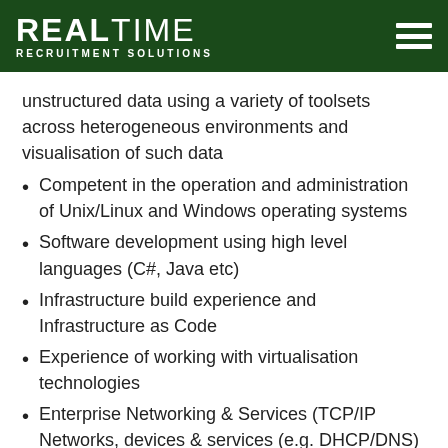REALTIME RECRUITMENT SOLUTIONS
unstructured data using a variety of toolsets across heterogeneous environments and visualisation of such data
Competent in the operation and administration of Unix/Linux and Windows operating systems
Software development using high level languages (C#, Java etc)
Infrastructure build experience and Infrastructure as Code
Experience of working with virtualisation technologies
Enterprise Networking & Services (TCP/IP Networks, devices & services (e.g. DHCP/DNS)
Experience with enterprise system monitoring and administration toolsets
Excellent interpersonal and communication skills
Ability to work under broad direction, with minimal supervision, in challenging technical environments